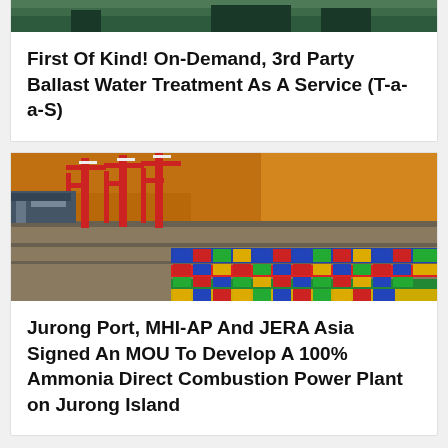[Figure (photo): Partial top image of a ship or industrial scene, cropped at top of page]
First Of Kind! On-Demand, 3rd Party Ballast Water Treatment As A Service (T-a-a-S)
[Figure (photo): Aerial view of a busy container port with red and white cranes and rows of colorful shipping containers on orange-brown water background]
Jurong Port, MHI-AP And JERA Asia Signed An MOU To Develop A 100% Ammonia Direct Combustion Power Plant on Jurong Island